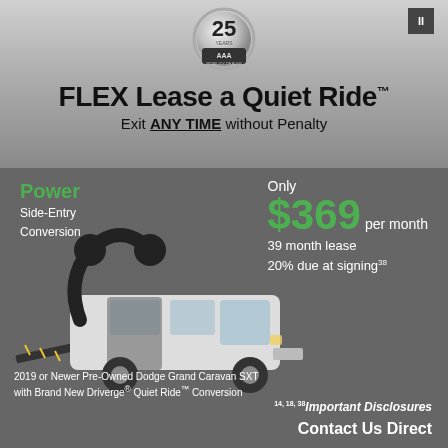[Figure (logo): 25 Years AAA Mobility Dealer circular silver badge/emblem]
FLEX Lease a Quiet Ride™
Exit ANY TIME without Penalty
Power Side-Entry Conversion
Only $369 per month 39 month lease 20% due at signing
[Figure (photo): 2019 or newer Dodge Grand Caravan SXT with power side-entry wheelchair ramp conversion deployed, showing accessible van with ramp lowered]
2019 or Newer Pre-Owned Dodge Grand Caravan SXT with Brand New Driverge® Quiet Ride™ Conversion
14, 18, 38 Important Disclosures
Contact Us Direct